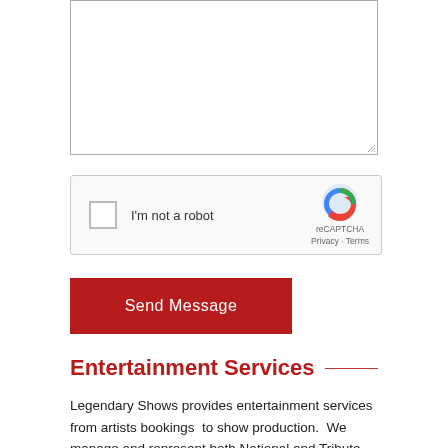[Figure (screenshot): Empty textarea input field with resize handle at bottom right]
[Figure (screenshot): reCAPTCHA widget with checkbox, 'I'm not a robot' label, and Google reCAPTCHA logo with Privacy and Terms links]
[Figure (screenshot): Dark red 'Send Message' button]
Entertainment Services
Legendary Shows provides entertainment services from artists bookings  to show production.  We manage and represent both National and Tribute artists, be it one artist or a